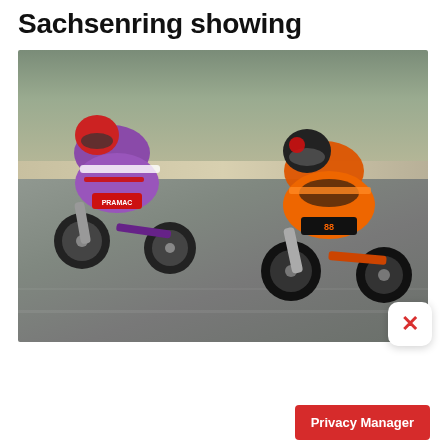Sachsenring showing
[Figure (photo): Two MotoGP motorcycles racing on the Sachsenring circuit. Left bike is a purple and white Ducati Pramac, right bike is an orange and black KTM. Both riders are leaning into a corner.]
Privacy Manager